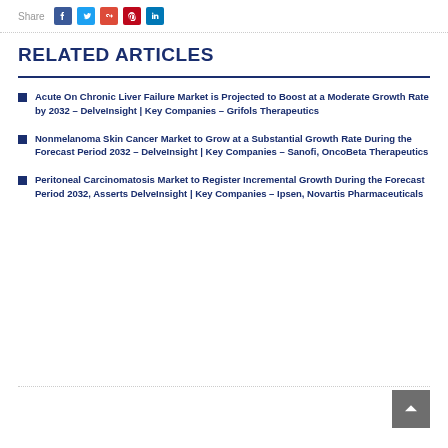Share
RELATED ARTICLES
Acute On Chronic Liver Failure Market is Projected to Boost at a Moderate Growth Rate by 2032 – DelveInsight | Key Companies – Grifols Therapeutics
Nonmelanoma Skin Cancer Market to Grow at a Substantial Growth Rate During the Forecast Period 2032 – DelveInsight | Key Companies – Sanofi, OncoBeta Therapeutics
Peritoneal Carcinomatosis Market to Register Incremental Growth During the Forecast Period 2032, Asserts DelveInsight | Key Companies – Ipsen, Novartis Pharmaceuticals